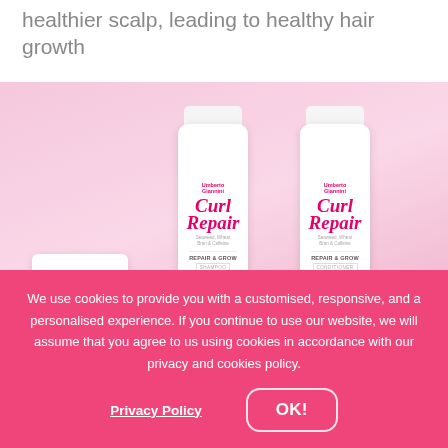healthier scalp, leading to healthy hair growth
[Figure (photo): Three Umberto Giannini Curl hair care products on a pink background: a jar of Curl Magic, a tube of Curl Repair Repair & Grow Shampoo, and a tube of Curl Repair Repair & Grow Conditioner.]
We use cookies to provide you with a customised, responsive, and a personalised experience. If you continue to use our website, we will assume that you agree to us using cookies in accordance with our privacy and cookies policy.
Privacy Policy
OK!